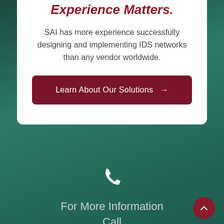Experience Matters.
SAI has more experience successfully designing and implementing IDS networks than any vendor worldwide.
Learn About Our Solutions →
[Figure (illustration): White phone/call icon on dark teal background]
For More Information Call
770-928-0340